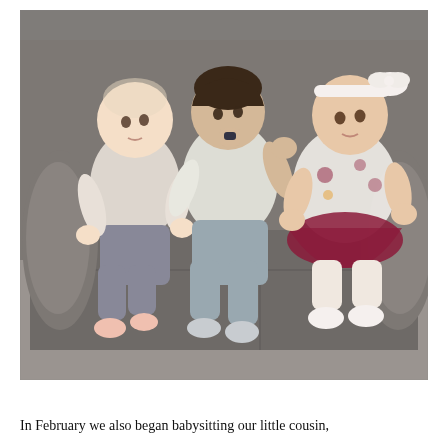[Figure (photo): Three babies sitting together on a gray recliner chair. Left baby wears a white onesie with orange print and gray pants. Middle baby wears a white outfit and gray pants, putting something in mouth. Right baby wears a white floral outfit with a maroon tutu skirt and a white bow headband.]
In February we also began babysitting our little cousin,